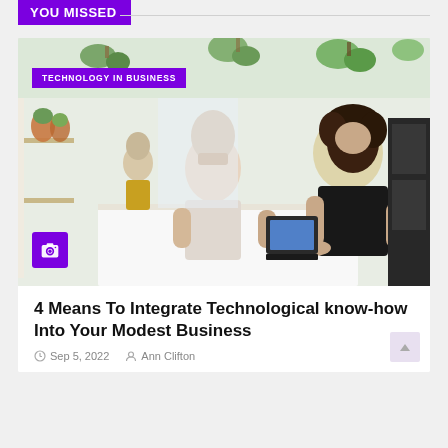You missed
[Figure (photo): Photo of a plant shop or cafe interior. A smiling man with tattoos stands at a white counter across from a woman with curly hair who is using a tablet/POS system. Hanging plants and shelves with potted plants fill the background. Another person is visible in the back.]
TECHNOLOGY IN BUSINESS
4 Means To Integrate Technological know-how Into Your Modest Business
Sep 5, 2022   Ann Clifton